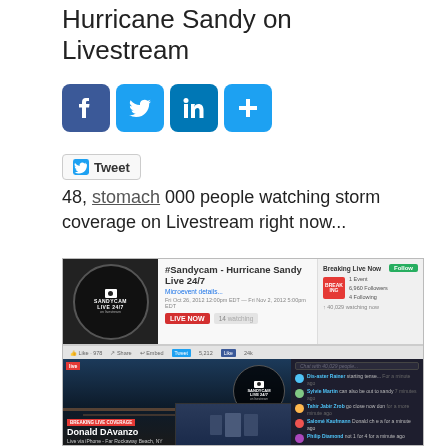Hurricane Sandy on Livestream
[Figure (screenshot): Social media sharing buttons: Facebook (blue), Twitter (light blue), LinkedIn (blue), and a plus/share button (blue)]
[Figure (screenshot): Twitter Tweet button widget]
48, stomach 000 people watching storm coverage on Livestream right now...
[Figure (screenshot): Screenshot of Livestream page showing #Sandycam - Hurricane Sandy Live 24/7. Shows a live stream with SANDYCAM LIVE 24/7 logo, LIVE NOW button, 14 viewers. Breaking Live Now section on right with Follow button, 1 Event, 6,960 Followers, 4 Following, 1 40,029 watching now. Bottom section shows video player with flood footage, SANDYCAM LIVE 24/7 overlay, Donald DAvanzo Live via iPhone - Far Rockaway Beach NY lower third, and live chat panel on right.]